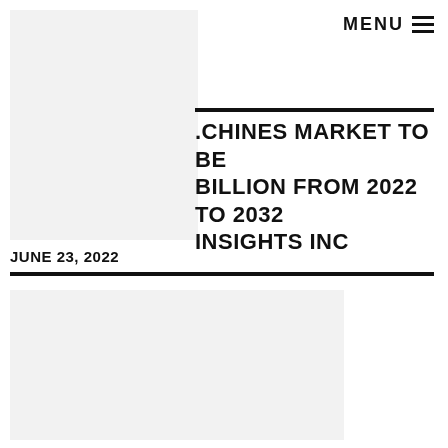[Figure (photo): Gray placeholder image box in top left area]
MENU ≡
.CHINES MARKET TO BE BILLION FROM 2022 TO 2032 INSIGHTS INC
JUNE 23, 2022
[Figure (photo): Gray placeholder image box in bottom area]